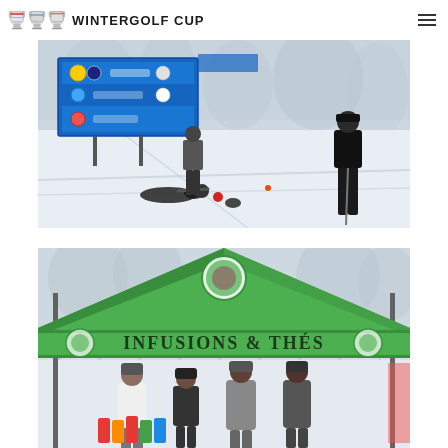WINTERGOLF CUP
[Figure (photo): Winter outdoor scene showing a person lying on snow/ice appearing to be playing winter golf or curling, with a blue scoreboard/sponsor banner visible on the left and a person standing with a golf club on the right]
[Figure (photo): Outdoor event tent/booth with a green canopy reading 'Infusions & Thés', with several people standing underneath in winter clothing]